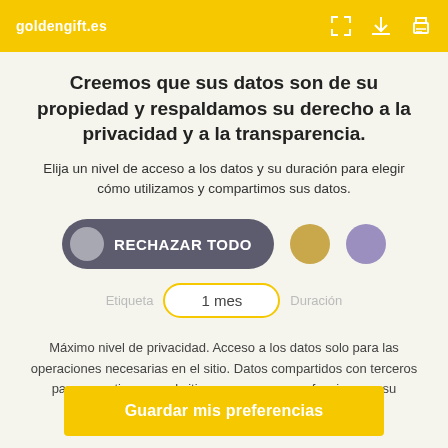goldengift.es
Creemos que sus datos son de su propiedad y respaldamos su derecho a la privacidad y a la transparencia.
Elija un nivel de acceso a los datos y su duración para elegir cómo utilizamos y compartimos sus datos.
[Figure (infographic): A toggle button labeled 'RECHAZAR TODO' with a grey circle on the left side, followed by two color circles (gold and purple).]
1 mes
Máximo nivel de privacidad. Acceso a los datos solo para las operaciones necesarias en el sitio. Datos compartidos con terceros para garantizar que el sitio sea seguro y que funcione en su dispositivo
Guardar mis preferencias